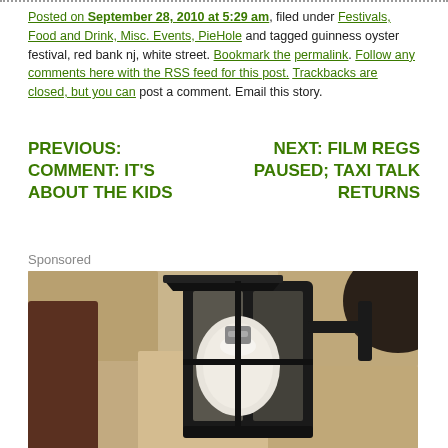Posted on September 28, 2010 at 5:29 am, filed under Festivals, Food and Drink, Misc. Events, PieHole and tagged guinness oyster festival, red bank nj, white street. Bookmark the permalink. Follow any comments here with the RSS feed for this post. Trackbacks are closed, but you can post a comment. Email this story.
PREVIOUS: COMMENT: IT'S ABOUT THE KIDS
NEXT: FILM REGS PAUSED; TAXI TALK RETURNS
Sponsored
[Figure (photo): Close-up sepia/warm-toned photograph of a black wrought-iron outdoor lantern with a large white globe bulb, mounted on a textured stone wall.]